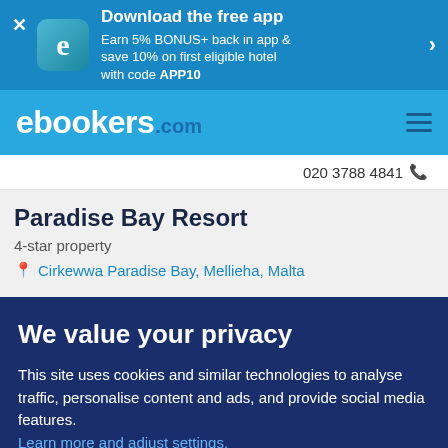[Figure (screenshot): App download banner with ebookers app icon, title 'Download the free app', description about earning 5% BONUS+ and saving 10%, plus close and arrow buttons]
ebookers.com
020 3788 4841
Paradise Bay Resort
4-star property
Cirkewwa Paradise Bay, Mellieha, Malta
We value your privacy
This site uses cookies and similar technologies to analyse traffic, personalise content and ads, and provide social media features. Learn more and adjust settings.
Accept